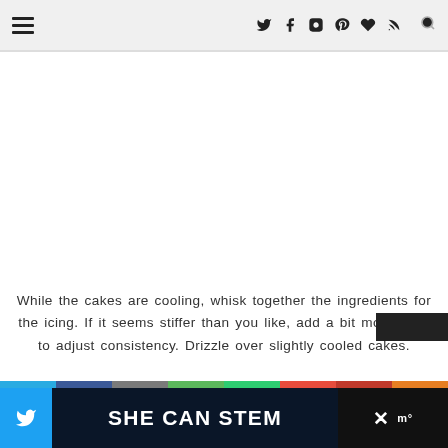≡  ✦ f ☷ ℗ ♥ ◉  🔍
[Figure (other): Large blank white image placeholder area]
While the cakes are cooling, whisk together the ingredients for the icing.  If it seems stiffer than you like, add a bit more juice to adjust consistency.  Drizzle over slightly cooled cakes.
[Figure (other): SHE CAN STEM promotional banner at bottom with colored stripe bar, Twitter icon on left, close button on right]